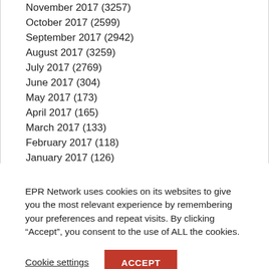November 2017 (3257)
October 2017 (2599)
September 2017 (2942)
August 2017 (3259)
July 2017 (2769)
June 2017 (304)
May 2017 (173)
April 2017 (165)
March 2017 (133)
February 2017 (118)
January 2017 (126)
December 2016 (104)
November 2016 (76)
EPR Network uses cookies on its websites to give you the most relevant experience by remembering your preferences and repeat visits. By clicking “Accept”, you consent to the use of ALL the cookies.
Cookie settings
ACCEPT